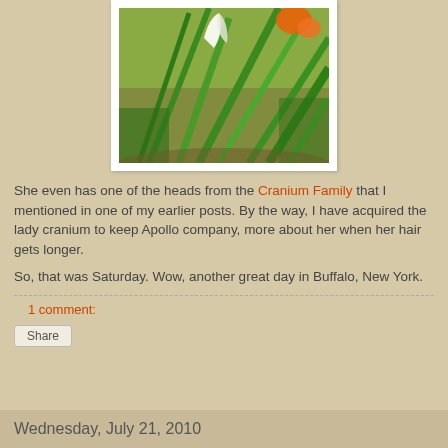[Figure (photo): A garden photo showing green plants, lily-like leaves, and orange flowers in the background.]
She even has one of the heads from the Cranium Family that I mentioned in one of my earlier posts. By the way, I have acquired the lady cranium to keep Apollo company, more about her when her hair gets longer.
So, that was Saturday. Wow, another great day in Buffalo, New York.
1 comment:
Share
Wednesday, July 21, 2010